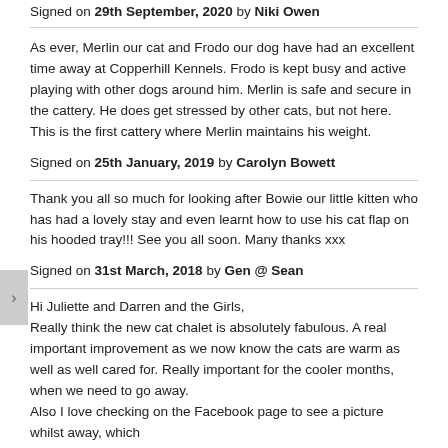Signed on 29th September, 2020 by Niki Owen
As ever, Merlin our cat and Frodo our dog have had an excellent time away at Copperhill Kennels. Frodo is kept busy and active playing with other dogs around him. Merlin is safe and secure in the cattery. He does get stressed by other cats, but not here. This is the first cattery where Merlin maintains his weight.
Signed on 25th January, 2019 by Carolyn Bowett
Thank you all so much for looking after Bowie our little kitten who has had a lovely stay and even learnt how to use his cat flap on his hooded tray!!! See you all soon. Many thanks xxx
Signed on 31st March, 2018 by Gen @ Sean
Hi Juliette and Darren and the Girls,
Really think the new cat chalet is absolutely fabulous. A real important improvement as we now know the cats are warm as well as well cared for. Really important for the cooler months, when we need to go away.
Also I love checking on the Facebook page to see a picture whilst away, which